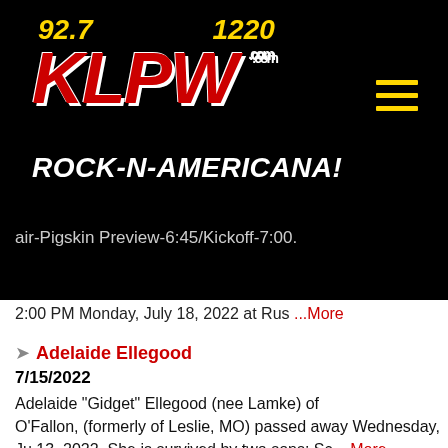[Figure (logo): KLPW radio station logo on black background with 92.7 and 1220 frequencies in yellow, KLPW in large red italic letters, .com in white, and ROCK-N-AMERICANA! tagline in white italic]
air-Pigskin Preview-6:45/Kickoff-7:00.
2:00 PM Monday, July 18, 2022 at Rus ...More
Adelaide Ellegood
7/15/2022
Adelaide “Gidget” Ellegood (nee Lamke) of O’Fallon, (formerly of Leslie, MO) passed away Wednesday, Ju 13, 2022. She is survived by two sons: Sc ...More